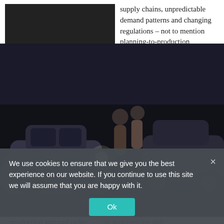[Figure (photo): Photo of cars and people at night, dark background with car dealership or automotive scene]
supply chains, unpredictable demand patterns and changing regulations – not to mention planning-to-production processes that can take up to five years – have caused headaches for car manufacturers and original equipment manufacturers (OEMs) for a number of years.
The recession of 2008 and 2009 and its impact made things even harder. Collapsing demand and other associated factors squeezed the car industry and hit suppliers hard. Prior to 2008, it was important for suppliers to be able to respond to unplanned or short-notice demand from OEMs, as the balance of power usually lay with the manufacturers.
However, oe ternd t s chand d d b nce of the ind ... production and part order... but suppliers are still cautious after the recession and have neither the capacity nor the capital expenditure plans necessary to deal with increased demand. According to a recent survey of suppliers to OEMs,
We use cookies to ensure that we give you the best experience on our website. If you continue to use this site we will assume that you are happy with it.